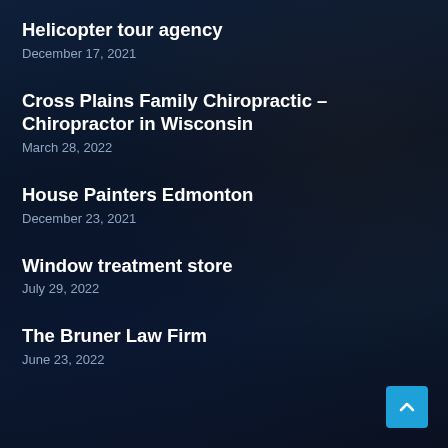Helicopter tour agency
December 17, 2021
Cross Plains Family Chiropractic – Chiropractor in Wisconsin
March 28, 2022
House Painters Edmonton
December 23, 2021
Window treatment store
July 29, 2022
The Bruner Law Firm
June 23, 2022